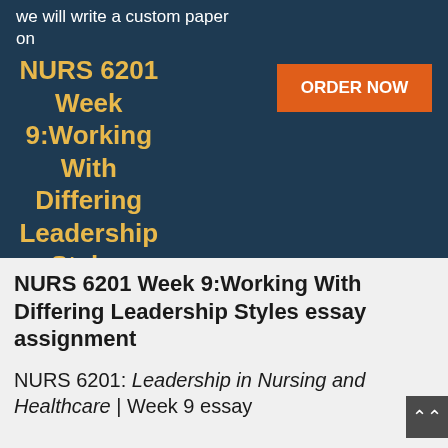we will write a custom paper on
NURS 6201 Week 9:Working With Differing Leadership Styles
[Figure (other): Orange ORDER NOW button]
specifically for you
NURS 6201 Week 9:Working With Differing Leadership Styles essay assignment
NURS 6201: Leadership in Nursing and Healthcare | Week 9 essay